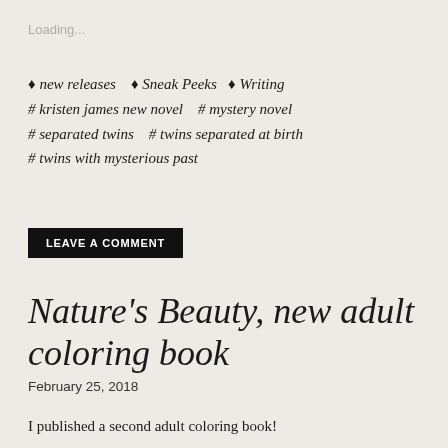Loading...
♦ new releases   ♦ Sneak Peeks   ♦ Writing
# kristen james new novel   # mystery novel
# separated twins   # twins separated at birth
# twins with mysterious past
LEAVE A COMMENT
Nature's Beauty, new adult coloring book
February 25, 2018
I published a second adult coloring book!